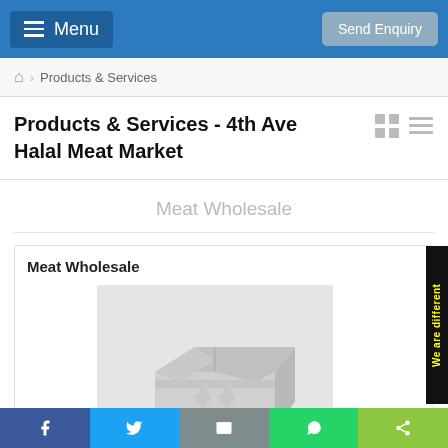Menu | Send Enquiry
Products & Services
Products & Services - 4th Ave Halal Meat Market
Meat Wholesale
Meat Wholesale
[Figure (illustration): A light grey illustrated box/package icon with upward arrows, representing wholesale shipping or packaging.]
We are different
Facebook | Twitter | Email | WhatsApp | Share